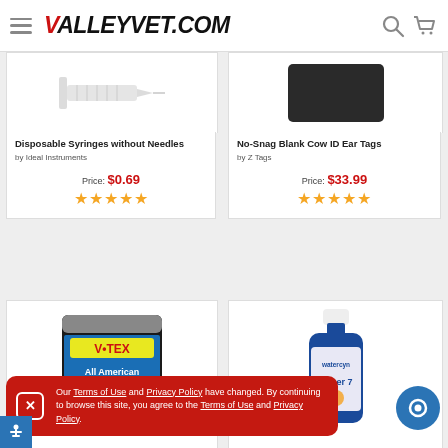VALLEYVET.COM
[Figure (photo): Disposable syringe without needle product image]
Disposable Syringes without Needles
by Ideal Instruments
Price: $0.69
★★★★★
[Figure (photo): No-Snag Blank Cow ID Ear Tags product image - dark rectangle]
No-Snag Blank Cow ID Ear Tags
by Z Tags
Price: $33.99
★★★★★
[Figure (photo): V-Tex All American product bag image]
[Figure (photo): Watercyn Super 7 blue bottle product image]
Our Terms of Use and Privacy Policy have changed. By continuing to browse this site, you agree to the Terms of Use and Privacy Policy.